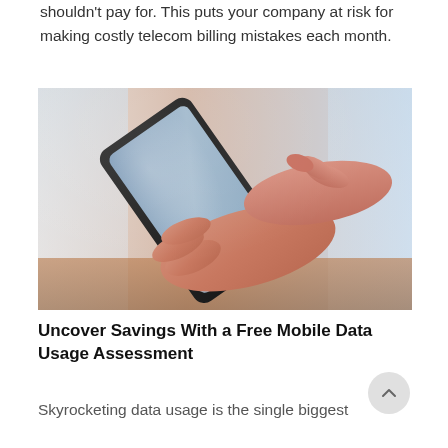shouldn't pay for. This puts your company at risk for making costly telecom billing mistakes each month.
[Figure (photo): Hands holding and using a smartphone, close-up photo]
Uncover Savings With a Free Mobile Data Usage Assessment
Skyrocketing data usage is the single biggest